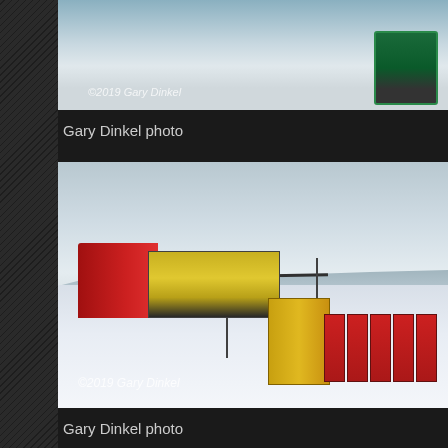[Figure (photo): Top portion of a winter scene photo showing a vehicle tire and a blue/green cooler or equipment box on snow, with copyright watermark '©2019 Gary Dinkel']
Gary Dinkel photo
[Figure (photo): A red fire truck parked next to a large yellow and red portable water tank/pool on a snowy field in winter. A small blue pump is visible near the tank. Copyright watermark '©2019 Gary Dinkel']
Gary Dinkel photo